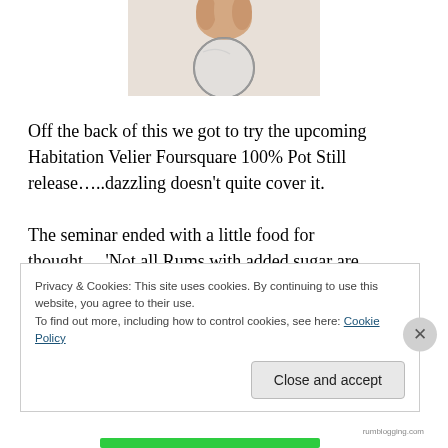[Figure (photo): A hand holding a round glass lens or watch crystal, viewed from above against a white background.]
Off the back of this we got to try the upcoming Habitation Velier Foursquare 100% Pot Still release…..dazzling doesn't quite cover it.
The seminar ended with a little food for thought….'Not all Rums with added sugar are bad…..but all of the bad ones will have added sugar'. A very interesting day spent and a
Privacy & Cookies: This site uses cookies. By continuing to use this website, you agree to their use.
To find out more, including how to control cookies, see here: Cookie Policy
Close and accept